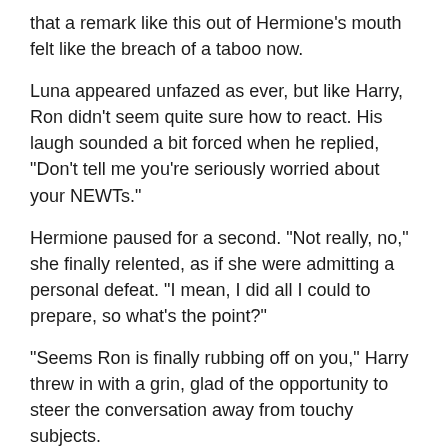that a remark like this out of Hermione's mouth felt like the breach of a taboo now.
Luna appeared unfazed as ever, but like Harry, Ron didn't seem quite sure how to react. His laugh sounded a bit forced when he replied, "Don't tell me you're seriously worried about your NEWTs."
Hermione paused for a second. "Not really, no," she finally relented, as if she were admitting a personal defeat. "I mean, I did all I could to prepare, so what's the point?"
"Seems Ron is finally rubbing off on you," Harry threw in with a grin, glad of the opportunity to steer the conversation away from touchy subjects.
"Speak for yourself, mate," Ron grumbled. "I am worrying, considering that I need five E's before I'll even get a chance to apply for Auror training! Yes, I know," he added when he saw that Harry was about to interrupt him, "so do